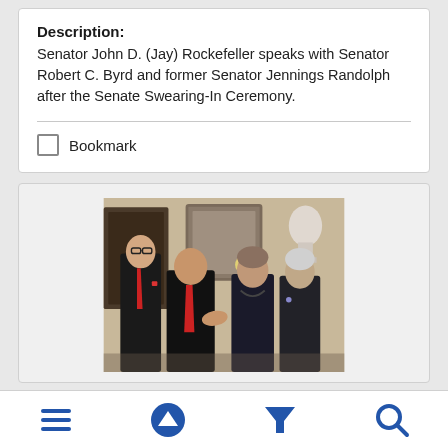Description: Senator John D. (Jay) Rockefeller speaks with Senator Robert C. Byrd and former Senator Jennings Randolph after the Senate Swearing-In Ceremony.
Bookmark
[Figure (photo): Four people in formal attire in an ornate room with paintings and a bust sculpture. Two men in dark suits with red ties on the left, a woman and older man on the right. Appears to be a Senate related social gathering.]